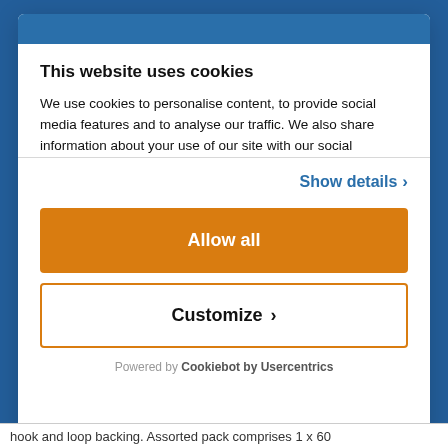This website uses cookies
We use cookies to personalise content, to provide social media features and to analyse our traffic. We also share information about your use of our site with our social
Show details ›
Allow all
Customize ›
Powered by Cookiebot by Usercentrics
hook and loop backing. Assorted pack comprises 1 x 60